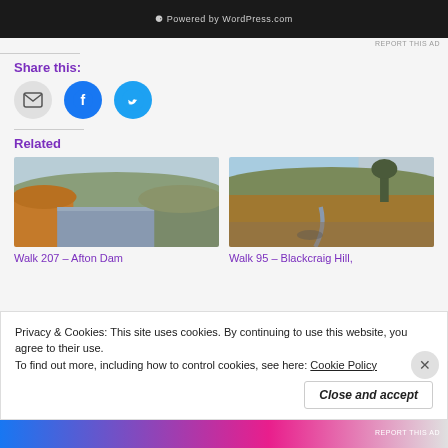[Figure (screenshot): Dark ad banner with WordPress.com branding]
REPORT THIS AD
Share this:
[Figure (infographic): Three share buttons: email (grey circle), Facebook (blue circle), Twitter (light blue circle)]
Related
[Figure (photo): Landscape photo of Afton Dam with reservoir and moorland hills]
Walk 207 – Afton Dam
[Figure (photo): Landscape photo of Blackcraig Hill with moorland and stream]
Walk 95 – Blackcraig Hill,
Privacy & Cookies: This site uses cookies. By continuing to use this website, you agree to their use.
To find out more, including how to control cookies, see here: Cookie Policy
Close and accept